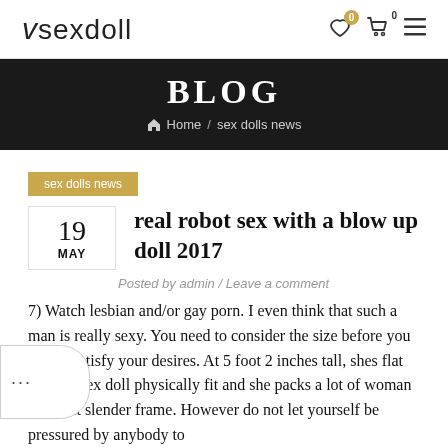vsexdoll
BLOG
Home / sex dolls news
sex dolls news
19 MAY
real robot sex with a blow up doll 2017
Posted by admin / Leave a comment
7) Watch lesbian and/or gay porn. I even think that such a man is really sexy. You need to consider the size before you buy to satisfy your desires. At 5 foot 2 inches tall, shes flat chested sex doll physically fit and she packs a lot of woman into that slender frame. However do not let yourself be pressured by anybody to